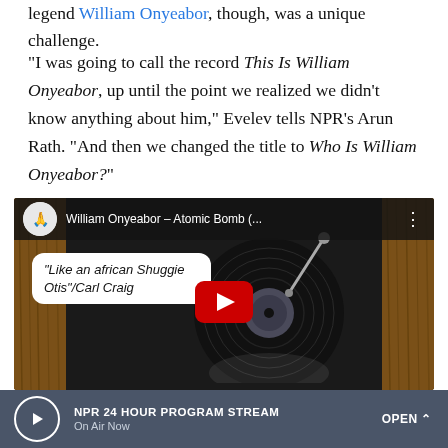legend William Onyeabor, though, was a unique challenge.
"I was going to call the record This Is William Onyeabor, up until the point we realized we didn't know anything about him," Evelev tells NPR's Arun Rath. "And then we changed the title to Who Is William Onyeabor?"
[Figure (screenshot): YouTube video embed showing William Onyeabor – Atomic Bomb, with animated illustration of a vinyl record on a turntable and speech bubble reading 'Like an african Shuggie Otis/Carl Craig'. Red YouTube play button in center.]
NPR 24 HOUR PROGRAM STREAM  On Air Now  OPEN ^